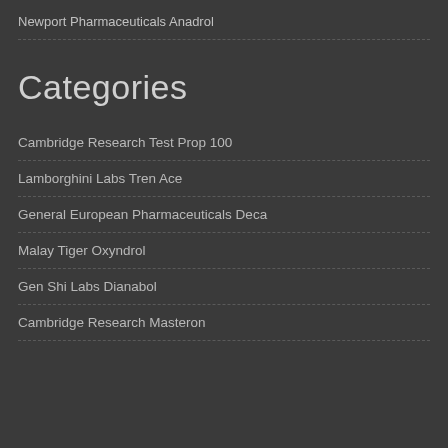Newport Pharmaceuticals Anadrol
Categories
Cambridge Research Test Prop 100
Lamborghini Labs Tren Ace
General European Pharmaceuticals Deca
Malay Tiger Oxyndrol
Gen Shi Labs Dianabol
Cambridge Research Masteron